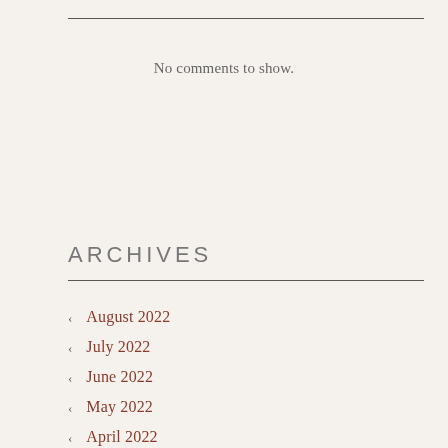No comments to show.
ARCHIVES
August 2022
July 2022
June 2022
May 2022
April 2022
March 2022